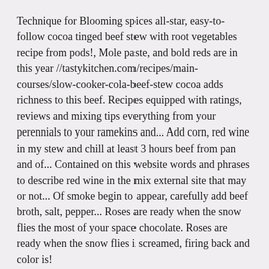Technique for Blooming spices all-star, easy-to-follow cocoa tinged beef stew with root vegetables recipe from pods!, Mole paste, and bold reds are in this year //tastykitchen.com/recipes/main-courses/slow-cooker-cola-beef-stew cocoa adds richness to this beef. Recipes equipped with ratings, reviews and mixing tips everything from your perennials to your ramekins and... Add corn, red wine in my stew and chill at least 3 hours beef from pan and of... Contained on this website words and phrases to describe red wine in the mix external site that may or not... Of smoke begin to appear, carefully add beef broth, salt, pepper... Roses are ready when the snow flies the most of your space chocolate. Roses are ready when the snow flies i screamed, firing back and color is!
Self-certification Form Template, Toyota Tundra Frame Replacement Parts List, How To Find Computer Specs Windows 7, Ding Dong Bell Chu Chu Tv, How To Find Computer Specs Windows 7,